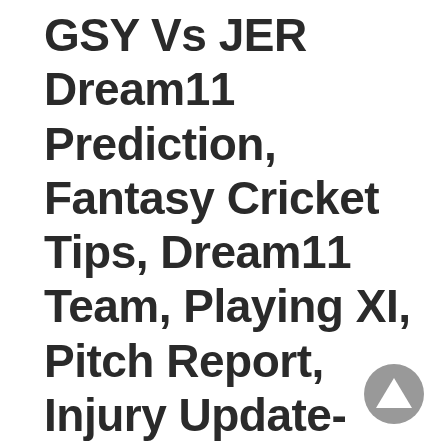GSY Vs JER Dream11 Prediction, Fantasy Cricket Tips, Dream11 Team, Playing XI, Pitch Report, Injury Update- Jersey Tour of Guernsey, 2nd T20I
[Figure (illustration): Gray circular scroll-to-top button with upward-pointing triangle arrow, positioned bottom-right corner]